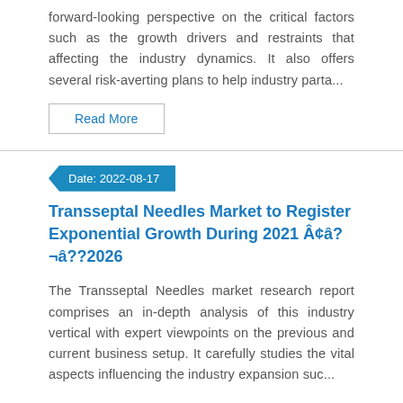forward-looking perspective on the critical factors such as the growth drivers and restraints that affecting the industry dynamics. It also offers several risk-averting plans to help industry parta...
Read More
Date: 2022-08-17
Transseptal Needles Market to Register Exponential Growth During 2021 Â¢â?¬â??2026
The Transseptal Needles market research report comprises an in-depth analysis of this industry vertical with expert viewpoints on the previous and current business setup. It carefully studies the vital aspects influencing the industry expansion suc...
Read More